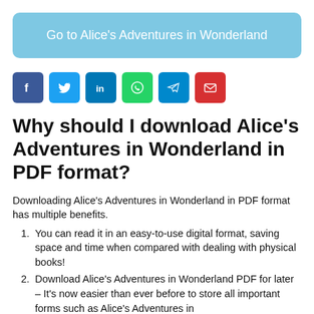[Figure (other): Blue rounded button reading 'Go to Alice's Adventures in Wonderland']
[Figure (infographic): Row of social share icons: Facebook (dark blue), Twitter (light blue), LinkedIn (teal blue), WhatsApp (green), Telegram (blue), Email (red)]
Why should I download Alice's Adventures in Wonderland in PDF format?
Downloading Alice's Adventures in Wonderland in PDF format has multiple benefits.
You can read it in an easy-to-use digital format, saving space and time when compared with dealing with physical books!
Download Alice's Adventures in Wonderland PDF for later – It's now easier than ever before to store all important forms such as Alice's Adventures in